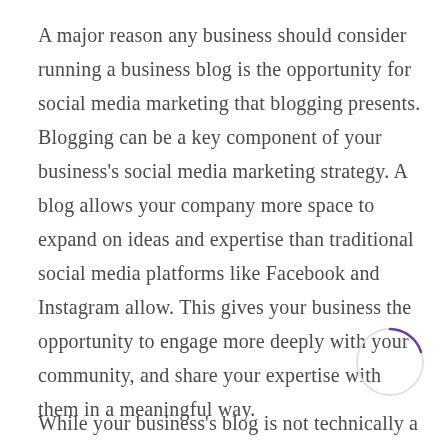A major reason any business should consider running a business blog is the opportunity for social media marketing that blogging presents. Blogging can be a key component of your business's social media marketing strategy. A blog allows your company more space to expand on ideas and expertise than traditional social media platforms like Facebook and Instagram allow. This gives your business the opportunity to engage more deeply with your community, and share your expertise with them in a meaningful way.
[Figure (illustration): A small decorative circle outline with a short purple arc segment at the top right, mostly white/empty inside.]
While your business's blog is not technically a